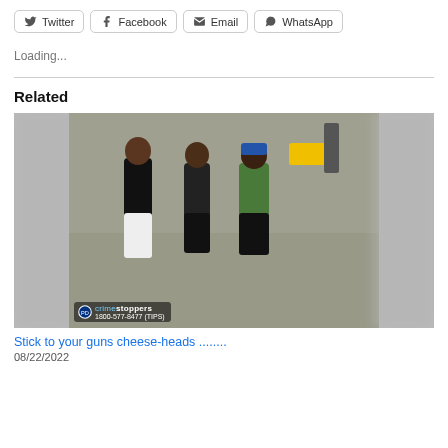[Figure (other): Social share buttons: Twitter, Facebook, Email, WhatsApp]
Loading...
Related
[Figure (photo): Photo of three women walking on a sidewalk, with blurred edges on left and right; CrimeStoppers watermark at bottom left]
Stick to your guns cheese-heads ........
08/22/2022